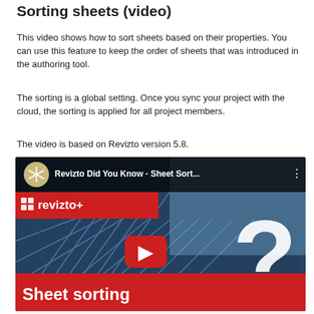Sorting sheets (video)
This video shows how to sort sheets based on their properties. You can use this feature to keep the order of sheets that was introduced in the authoring tool.
The sorting is a global setting. Once you sync your project with the cloud, the sorting is applied for all project members.
The video is based on Revizto version 5.8.
[Figure (screenshot): YouTube video thumbnail for 'Revizto Did You Know - Sheet Sort...' showing a blue steel structure background with a large white question mark, a red Revizto+ brand bar, a YouTube play button, and a 'Sheet sorting' label at the bottom.]